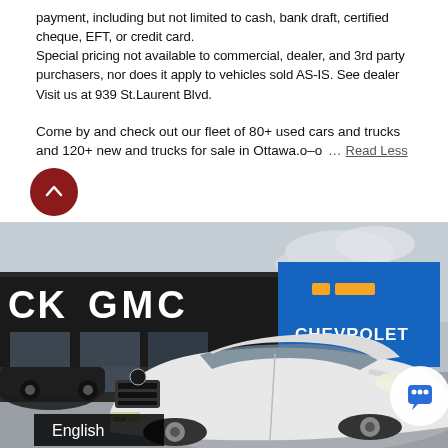payment, including but not limited to cash, bank draft, certified cheque, EFT, or credit card.
Special pricing not available to commercial, dealer, and 3rd party purchasers, nor does it apply to vehicles sold AS-IS. See dealer Visit us at 939 St.Laurent Blvd.
Come by and check out our fleet of 80+ used cars and trucks and 120+ new and trucks for sale in Ottawa.o–o ... Read Less
[Figure (photo): Exterior photo of a Buick GMC and Chevrolet dealership with a white BMW X3 SUV in the foreground. Dealership signage visible. An 'English' language label appears in the bottom left corner.]